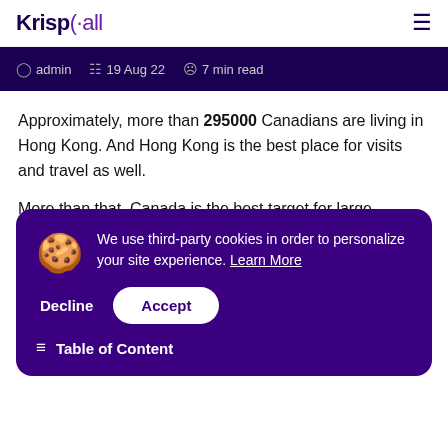KrispCall
admin  19 Aug 22  7 min read
Approximately, more than 295000 Canadians are living in Hong Kong. And Hong Kong is the best place for visits and travel as well.
More than that, Canada is the best target for large enterprises to ma...
[Figure (infographic): Cookie consent banner with purple background showing a cookie icon, text 'We use third-party cookies in order to personalize your site experience. Learn More', with Decline and Accept buttons, and a Table of Content link at the bottom.]
So, ... s to Ca...
So, ... Kong with various dialing formats and area codes of different lo...